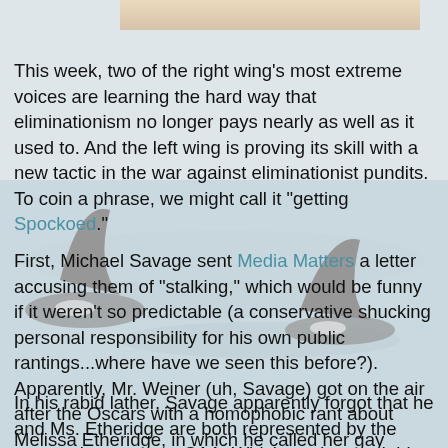[Figure (photo): Partial view of orca whale fins in water, used as background image for the article page]
This week, two of the right wing's most extreme voices are learning the hard way that eliminationism no longer pays nearly as well as it used to. And the left wing is proving its skill with a new tactic in the war against eliminationist pundits. To coin a phrase, we might call it "getting Spockoed."
First, Michael Savage sent Media Matters a letter accusing them of "stalking," which would be funny if it weren't so predictable (a conservative shucking personal responsibility for his own public rantings...where have we seen this before?). Apparently, Mr. Weiner (uh, Savage) got on the air after the Oscars with a homophobic rant about Melissa Etheridge, in which he called her gay marriage "digusting" and "nauseating" and a form of "child abuse."
In his rabid lather, Savage apparently forgot that he and Ms. Etheridge are both represented by the same talent agency, CAA. Which, understandably, felt the need to take sides in